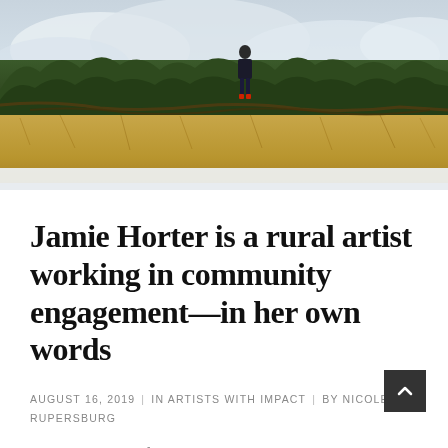[Figure (photo): Person standing in a rural field with dry grass and dense brush/trees in the background; overcast sky visible above]
Jamie Horter is a rural artist working in community engagement—in her own words
AUGUST 16, 2019  |  IN ARTISTS WITH IMPACT  |  BY NICOLE RUPERSBURG
This article is part of a series highlighting artists